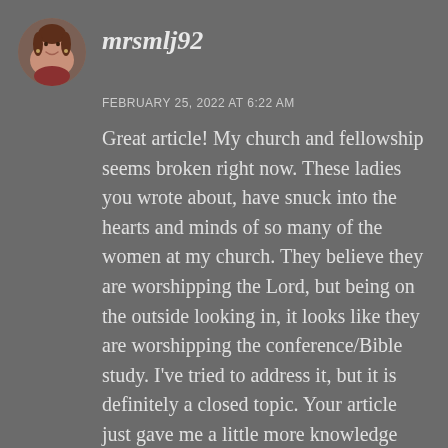[Figure (photo): Circular avatar photo of a woman with brown hair, smiling, against a neutral background]
mrsmlj92
FEBRUARY 25, 2022 AT 6:22 AM
Great article! My church and fellowship seems broken right now. These ladies you wrote about, have snuck into the hearts and minds of so many of the women at my church. They believe they are worshipping the Lord, but being on the outside looking in, it looks like they are worshipping the conference/Bible study. I've tried to address it, but it is definitely a closed topic. Your article just gave me a little more knowledge and insight on ways to talk about it. Have a great day!